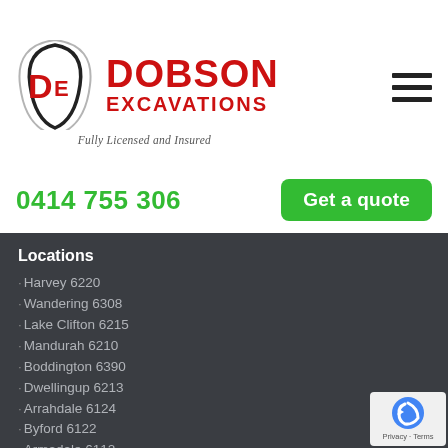[Figure (logo): Dobson Excavations logo with DE shield icon, red DOBSON EXCAVATIONS text, and italic tagline 'Fully Licensed and Insured']
[Figure (other): Hamburger menu icon (three horizontal bars)]
0414 755 306
Get a quote
Locations
Harvey 6220
Wandering 6308
Lake Clifton 6215
Mandurah 6210
Boddington 6390
Dwellingup 6213
Arrahdale 6124
Byford 6122
Armadale 6112
Coogee 6166
Lesmurdie 6076
Whitby 6213